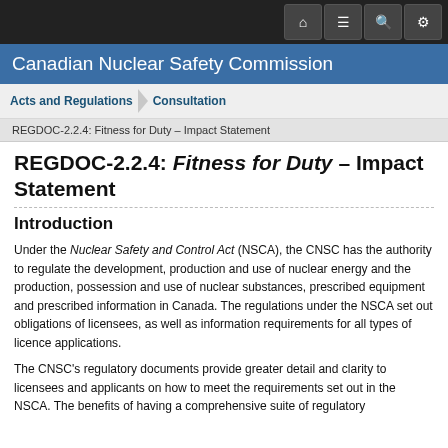Canadian Nuclear Safety Commission
Acts and Regulations / Consultation
REGDOC-2.2.4: Fitness for Duty – Impact Statement
REGDOC-2.2.4: Fitness for Duty – Impact Statement
Introduction
Under the Nuclear Safety and Control Act (NSCA), the CNSC has the authority to regulate the development, production and use of nuclear energy and the production, possession and use of nuclear substances, prescribed equipment and prescribed information in Canada. The regulations under the NSCA set out obligations of licensees, as well as information requirements for all types of licence applications.
The CNSC's regulatory documents provide greater detail and clarity to licensees and applicants on how to meet the requirements set out in the NSCA. The benefits of having a comprehensive suite of regulatory